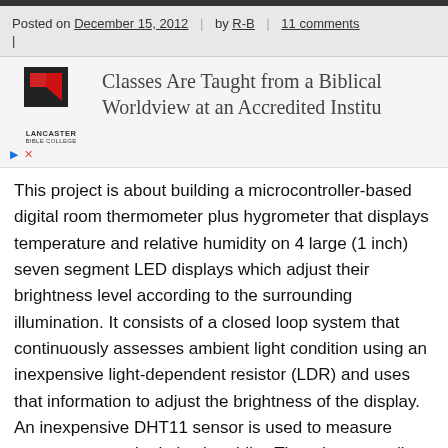Posted on December 15, 2012 | by R-B | 11 comments |
[Figure (logo): Lancaster Bible College logo with red and black geometric mark, text LANCASTER BIBLE COLLEGE below, and navigation arrow and close icons.]
Classes Are Taught from a Biblical Worldview at an Accredited Institu
This project is about building a microcontroller-based digital room thermometer plus hygrometer that displays temperature and relative humidity on 4 large (1 inch) seven segment LED displays which adjust their brightness level according to the surrounding illumination. It consists of a closed loop system that continuously assesses ambient light condition using an inexpensive light-dependent resistor (LDR) and uses that information to adjust the brightness of the display. An inexpensive DHT11 sensor is used to measure temperature and relative humidity. The microcontroller used in this project is PIC16F688, and it